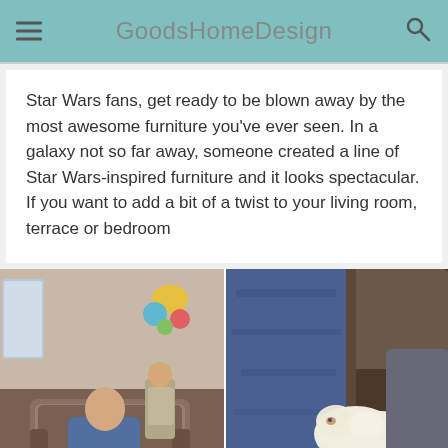GoodsHomeDesign
Star Wars fans, get ready to be blown away by the most awesome furniture you've ever seen. In a galaxy not so far away, someone created a line of Star Wars-inspired furniture and it looks spectacular. If you want to add a bit of a twist to your living room, terrace or bedroom
[Figure (photo): An elderly man sitting in a recliner chair at a furniture store with a small white fluffy dog on his lap; another older man stands behind him]
[Figure (photo): Close-up of a small white fluffy dog resting on the footrest of a recliner, with a person's legs in blue jeans visible]
Grandpa Brings Dog To Furniture Store